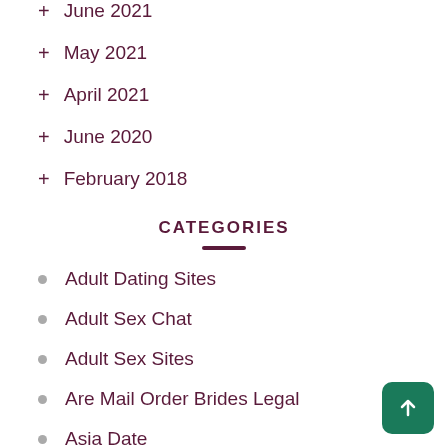+ June 2021
+ May 2021
+ April 2021
+ June 2020
+ February 2018
CATEGORIES
Adult Dating Sites
Adult Sex Chat
Adult Sex Sites
Are Mail Order Brides Legal
Asia Date